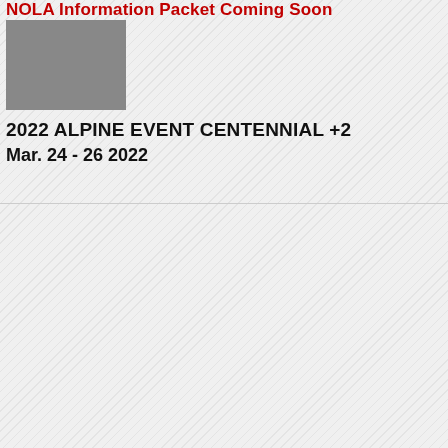NOLA Information Packet Coming Soon
[Figure (photo): Gray thumbnail image placeholder]
2022 ALPINE EVENT CENTENNIAL +2
Mar. 24 - 26 2022